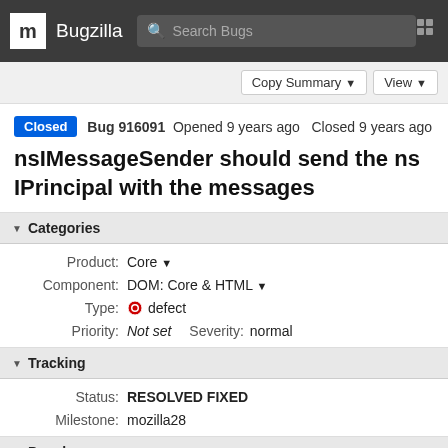m Bugzilla  Search Bugs
Copy Summary  View
Closed  Bug 916091  Opened 9 years ago  Closed 9 years ago
nsIMessageSender should send the nsIPrincipal with the messages
Categories
| Field | Value |
| --- | --- |
| Product: | Core |
| Component: | DOM: Core & HTML |
| Type: | defect |
| Priority: | Not set   Severity:   normal |
Tracking
| Field | Value |
| --- | --- |
| Status: | RESOLVED FIXED |
| Milestone: | mozilla28 |
People (Reporter: baku, Assigned: baku)